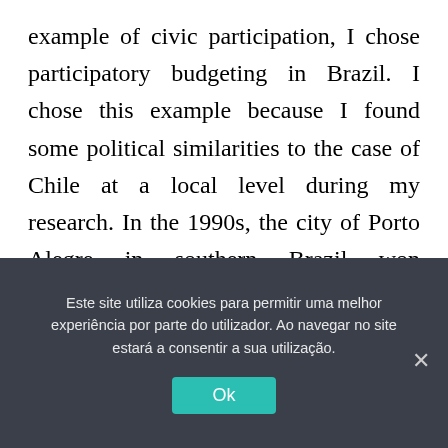example of civic participation, I chose participatory budgeting in Brazil. I chose this example because I found some political similarities to the case of Chile at a local level during my research. In the 1990s, the city of Porto Alegre in southern Brazil won international renown with its innovative policies. The centerpiece of the new policies involved the population in planning the city budget, participatory budgeting. The new method of drawing up the budget radically
Este site utiliza cookies para permitir uma melhor experiência por parte do utilizador. Ao navegar no site estará a consentir a sua utilização.
Ok